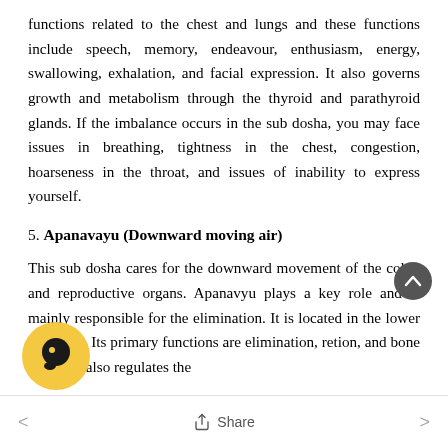functions related to the chest and lungs and these functions include speech, memory, endeavour, enthusiasm, energy, swallowing, exhalation, and facial expression. It also governs growth and metabolism through the thyroid and parathyroid glands. If the imbalance occurs in the sub dosha, you may face issues in breathing, tightness in the chest, congestion, hoarseness in the throat, and issues of inability to express yourself.
5. Apanavayu (Downward moving air)
This sub dosha cares for the downward movement of the colon and reproductive organs. Apanavyu plays a key role and is mainly responsible for the elimination. It is located in the lower abdomen. Its primary functions are elimination, reproduction, and bone health. It also regulates the
Share